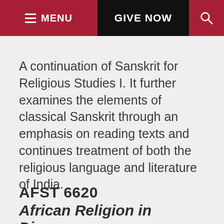MENU  GIVE NOW  🔍
A continuation of Sanskrit for Religious Studies I. It further examines the elements of classical Sanskrit through an emphasis on reading texts and continues treatment of both the religious language and literature of India.
AFST 6620
African Religion in Diaspora